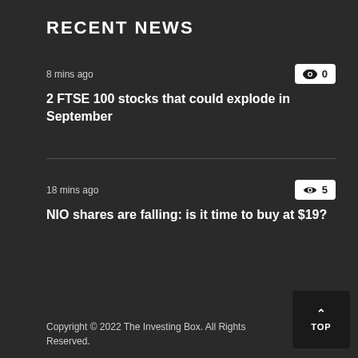RECENT NEWS
8 mins ago
2 FTSE 100 stocks that could explode in September
18 mins ago
NIO shares are falling: is it time to buy at $19?
Copyright © 2022 The Investing Box. All Rights Reserved.